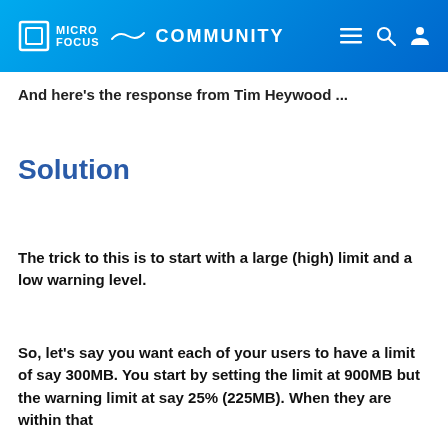Micro Focus Community
And here's the response from Tim Heywood ...
Solution
The trick to this is to start with a large (high) limit and a low warning level.
So, let's say you want each of your users to have a limit of say 300MB. You start by setting the limit at 900MB but the warning limit at say 25% (225MB). When they are within that